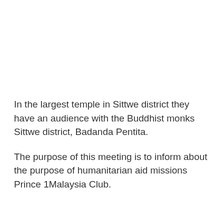In the largest temple in Sittwe district they have an audience with the Buddhist monks Sittwe district, Badanda Pentita.
The purpose of this meeting is to inform about the purpose of humanitarian aid missions Prince 1Malaysia Club.